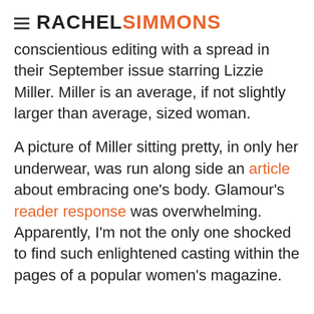RACHELSIMMONS
conscientious editing with a spread in their September issue starring Lizzie Miller. Miller is an average, if not slightly larger than average, sized woman.
A picture of Miller sitting pretty, in only her underwear, was run along side an article about embracing one's body. Glamour's reader response was overwhelming. Apparently, I'm not the only one shocked to find such enlightened casting within the pages of a popular women's magazine.